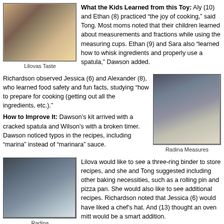[Figure (photo): Two children cooking at a table, one in yellow shirt]
Lilovas Taste
What the Kids Learned from this Toy: Aly (10) and Ethan (8) practiced "the joy of cooking," said Tong. Most moms noted that their children learned about measurements and fractions while using the measuring cups. Ethan (9) and Sara also "learned how to whisk ingredients and properly use a spatula," Dawson added.
Richardson observed Jessica (6) and Alexander (8), who learned food safety and fun facts, studying "how to prepare for cooking (getting out all the ingredients, etc.)."
How to Improve It: Dawson’s kit arrived with a cracked spatula and Wilson’s with a broken timer. Dawson noticed typos in the recipes, including “marina” instead of “marinara” sauce.
[Figure (photo): Girl in apron measuring ingredients in kitchen]
Radina Measures
[Figure (photo): Girl working at blue table with cooking items]
Radina
Lilova would like to see a three-ring binder to store recipes, and she and Tong suggested including other baking necessities, such as a rolling pin and pizza pan. She would also like to see additional recipes. Richardson noted that Jessica (6) would have liked a chef’s hat. And (13) thought an oven mitt would be a smart addition.